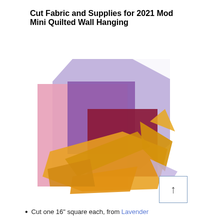Cut Fabric and Supplies for 2021 Mod Mini Quilted Wall Hanging
[Figure (illustration): A colorful quilt block illustration showing overlapping fabric squares and triangles in lavender/purple, pink/rose, dark red/burgundy, and golden yellow/orange colors arranged in a modern geometric design on a white background. A small navigation box with an upward arrow is in the bottom right corner.]
Cut one 16" square each, from Lavender